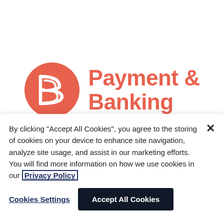[Figure (logo): Payment & Banking logo: orange circle with stylized 'B' monogram in white, next to bold orange text reading 'Payment & Banking']
Embedded Finance Fintech
By clicking "Accept All Cookies", you agree to the storing of cookies on your device to enhance site navigation, analyze site usage, and assist in our marketing efforts. You will find more information on how we use cookies in our Privacy Policy
Cookies Settings
Accept All Cookies